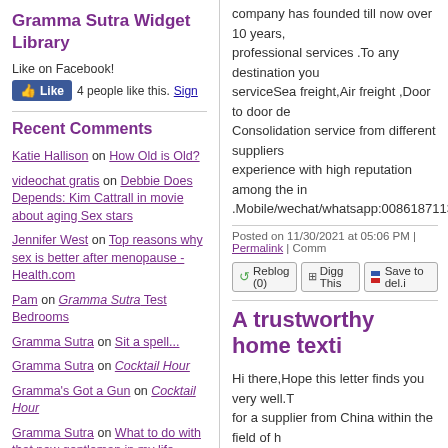Gramma Sutra Widget Library
Like on Facebook!
4 people like this. Sign
Recent Comments
Katie Hallison on How Old is Old?
videochat gratis on Debbie Does Depends: Kim Cattrall in movie about aging Sex stars
Jennifer West on Top reasons why sex is better after menopause - Health.com
Pam on Gramma Sutra Test Bedrooms
Gramma Sutra on Sit a spell...
Gramma Sutra on Cocktail Hour
Gramma's Got a Gun on Cocktail Hour
Gramma Sutra on What to do with that new gentleman in my life
pistol packin gramma on What to do with that new gentleman in my life
Betty on Sit a spell...
company has founded till now over 10 years, professional services .To any destination you serviceSea freight,Air freight ,Door to door de Consolidation service from different suppliers experience with high reputation among the in .Mobile/wechat/whatsapp:008618711330580
Posted on 11/30/2021 at 05:06 PM | Permalink | Comm
Reblog (0)  Digg This  Save to del.i
A trustworthy home texti
Hi there,Hope this letter finds you very well.T for a supplier from China within the field of h this pandemic. We've been exporting pillow c for years. A large number of our clients are sm care of our clients in terms of tailoring produc all-round one-on-one service.We appreciate you.Look forward to hearing from you. Have
Posted on 11/30/2021 at 03:02 PM | Permalink | Comm
Reblog (0)  Digg This  Save to del.i
Actualización de compra